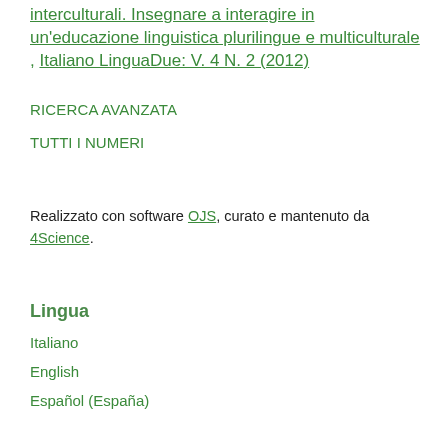interculturali. Insegnare a interagire in un'educazione linguistica plurilingue e multiculturale , Italiano LinguaDue: V. 4 N. 2 (2012)
RICERCA AVANZATA
TUTTI I NUMERI
Realizzato con software OJS, curato e mantenuto da 4Science.
Lingua
Italiano
English
Español (España)